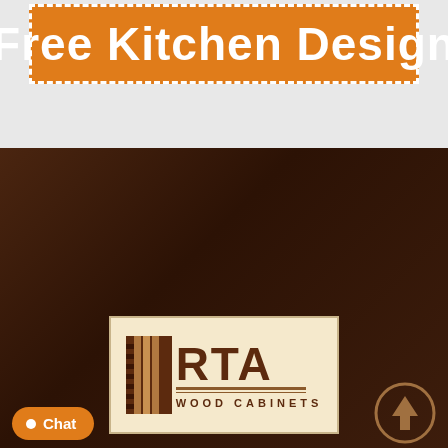Free Kitchen Design
[Figure (logo): RTA Wood Cabinets logo with cabinet icon on left and stylized RTA text with WOOD CABINETS subtitle on cream background]
If you're looking for a specific color or door style and don't see it online please call and ask we might be able to help you.
INFORMATION
SHOP
About Us
RTA Kitchen Cabinets
Blog
Assembled Kitchen Cabinets
Kitchen Cabinets Online at Cheap Prices